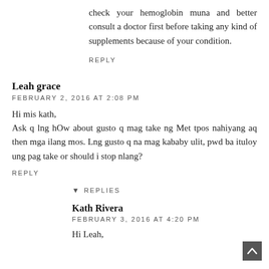check your hemoglobin muna and better consult a doctor first before taking any kind of supplements because of your condition.
REPLY
Leah grace
FEBRUARY 2, 2016 AT 2:08 PM
Hi mis kath,
Ask q lng hOw about gusto q mag take ng Met tpos nahiyang aq then mga ilang mos. Lng gusto q na mag kababy ulit, pwd ba ituloy ung pag take or should i stop nlang?
REPLY
REPLIES
Kath Rivera
FEBRUARY 3, 2016 AT 4:20 PM
Hi Leah,